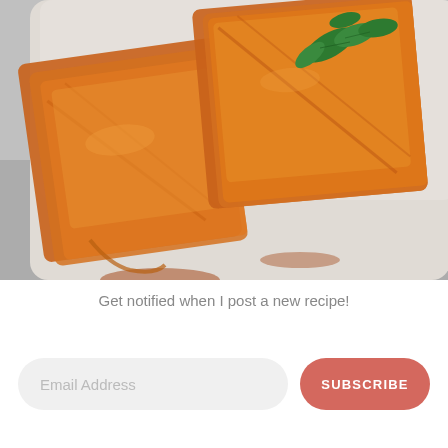[Figure (photo): Close-up photo of glazed salmon pieces with fresh mint leaves on a white plate, placed on a gray textured cloth surface]
Get notified when I post a new recipe!
Email Address
SUBSCRIBE